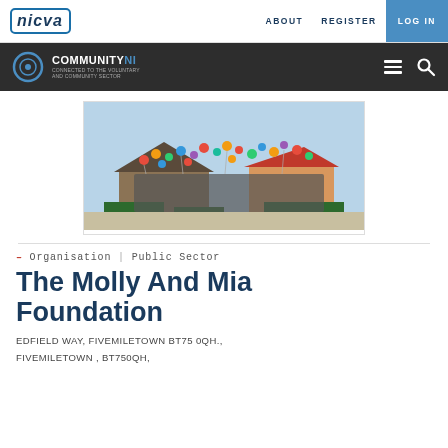nicva | ABOUT  REGISTER  LOG IN
COMMUNITYNI – CONNECTED TO THE VOLUNTARY AND COMMUNITY SECTOR
[Figure (photo): Group of people outdoors holding colorful balloons in front of a building with garden beds, celebrating an event.]
– Organisation | Public Sector
The Molly And Mia Foundation
EDFIELD WAY, FIVEMILETOWN BT75 0QH., FIVEMILETOWN , BT750QH,